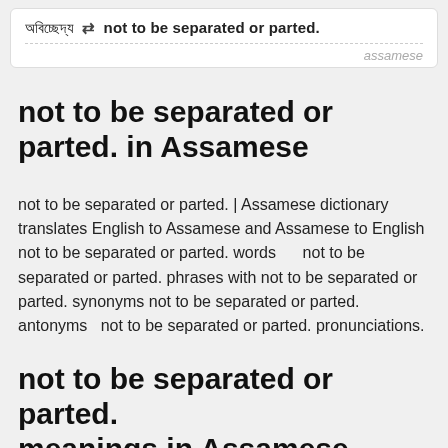অবিচ্ছেদ্য ⇄ not to be separated or parted.
assamese
not to be separated or parted. in Assamese
not to be separated or parted. | Assamese dictionary translates English to Assamese and Assamese to English not to be separated or parted. words     not to be separated or parted. phrases with not to be separated or parted. synonyms not to be separated or parted. antonyms  not to be separated or parted. pronunciations.
not to be separated or parted. meanings in Assamese